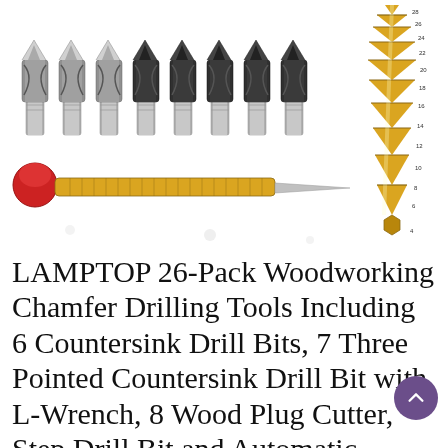[Figure (photo): Product photo showing a 26-pack woodworking chamfer drilling tools set: 8 wood plug cutters (silver/black cylindrical bits) arranged in a row at top, a gold/brass automatic center punch tool with red cap in the middle, and a golden titanium step drill bit cone on the right side.]
LAMPTOP 26-Pack Woodworking Chamfer Drilling Tools Including 6 Countersink Drill Bits, 7 Three Pointed Countersink Drill Bit with L-Wrench, 8 Wood Plug Cutter, Step Drill Bit and Automatic